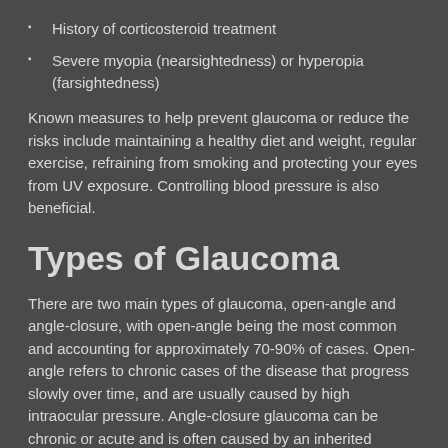History of corticosteroid treatment
Severe myopia (nearsightedness) or hyperopia (farsightedness)
Known measures to help prevent glaucoma or reduce the risks include maintaining a healthy diet and weight, regular exercise, refraining from smoking and protecting your eyes from UV exposure. Controlling blood pressure is also beneficial.
Types of Glaucoma
There are two main types of glaucoma, open-angle and angle-closure, with open-angle being the most common and accounting for approximately 70-90% of cases. Open-angle refers to chronic cases of the disease that progress slowly over time, and are usually caused by high intraocular pressure. Angle-closure glaucoma can be chronic or acute and is often caused by an inherited condition or the result of an injury to the eye.
While each of these types of glaucoma has subtypes the major difference between them has to do with the way that the...